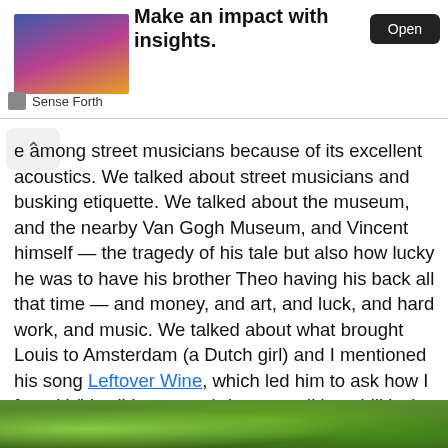[Figure (infographic): Advertisement banner with image on left showing a figure in front of city text reading LONDON OR SINGAPORE, bold headline 'Make an impact with insights.' and an Open button, sourced from Sense Forth]
e among street musicians because of its excellent acoustics. We talked about street musicians and busking etiquette. We talked about the museum, and the nearby Van Gogh Museum, and Vincent himself — the tragedy of his tale but also how lucky he was to have his brother Theo having his back all that time — and money, and art, and luck, and hard work, and music. We talked about what brought Louis to Amsterdam (a Dutch girl) and I mentioned his song Leftover Wine, which led him to ask how I found it/him (I have semi-decent stalking abilities) (not really, Google's just weirdly efficient at putting scraps of info together). All this and much more before we even reached Vondelpark, which goes to show how great Louis was at putting people at ease.
[Figure (photo): Bottom strip showing green trees/foliage in a park setting]